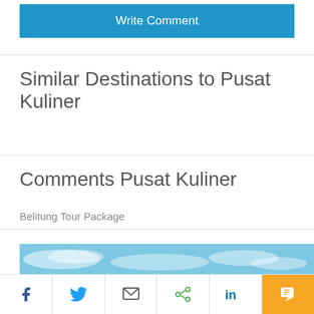Write Comment
Similar Destinations to Pusat Kuliner
Comments Pusat Kuliner
Belitung Tour Package
[Figure (photo): Sky with clouds visible at bottom of page]
[Figure (other): Social share bar with Facebook, Twitter, Email, Share, LinkedIn, and Comment icons]